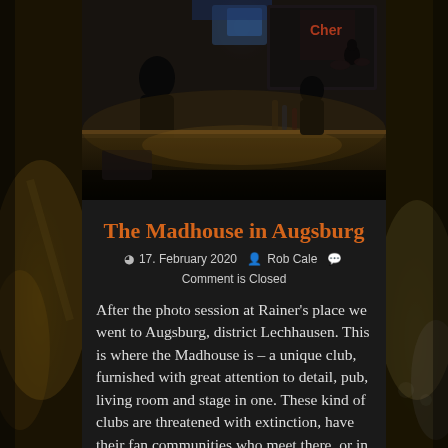[Figure (photo): Interior of the Madhouse bar/club in Augsburg at night, showing a long bar counter with bokeh lights, people seated, a stage area visible in the background with a drum kit and performer, dark moody atmosphere with warm accent lighting]
The Madhouse in Augsburg
17. February 2020  Rob Cale  Comment is Closed
After the photo session at Rainer's place we went to Augsburg, district Lechhausen. This is where the Madhouse is – a unique club, furnished with great attention to detail, pub, living room and stage in one. These kind of clubs are threatened with extinction, have their fan communities who meet there, or in